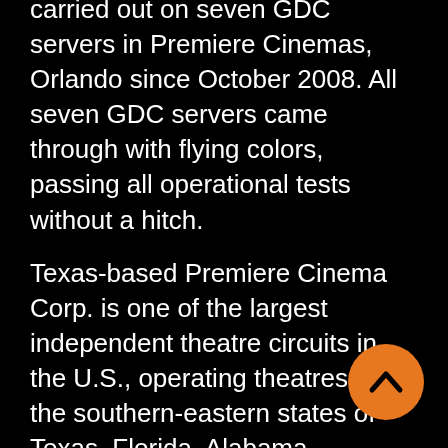carried out on seven GDC servers in Premiere Cinemas, Orlando since October 2008. All seven GDC servers came through with flying colors, passing all operational tests without a hitch.
Texas-based Premiere Cinema Corp. is one of the largest independent theatre circuits in the U.S., operating theatres in the southern-eastern states of Texas, Florida, Alabama. “Premiere chose GDC servers from the approved Cinedigm equipment list over other servers because of its advanced features, superior reliability, and first class customer service,” said Gary Moore, CEO Premiere Cinemas. “GDC has a proven track record outside the U.S., but may be lesser
[Figure (other): Orange circular scroll-up button with chevron/caret icon pointing upward]